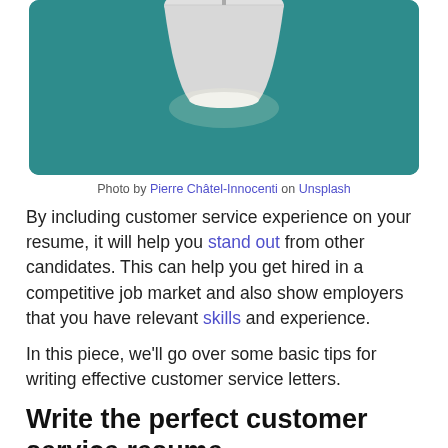[Figure (photo): A pendant lamp hanging against a teal/turquoise background]
Photo by Pierre Châtel-Innocenti on Unsplash
By including customer service experience on your resume, it will help you stand out from other candidates. This can help you get hired in a competitive job market and also show employers that you have relevant skills and experience.
In this piece, we'll go over some basic tips for writing effective customer service letters.
Write the perfect customer service resume